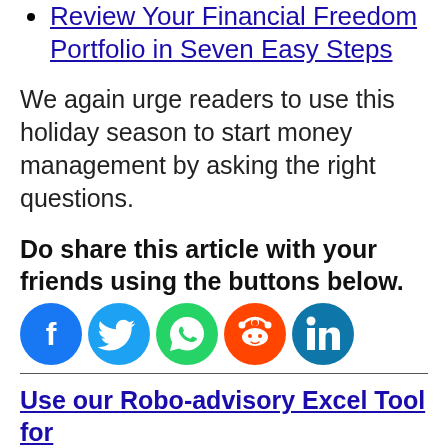Review Your Financial Freedom Portfolio in Seven Easy Steps
We again urge readers to use this holiday season to start money management by asking the right questions.
Do share this article with your friends using the buttons below.
[Figure (infographic): Five social media share buttons: Facebook (blue circle with f), Twitter (light blue circle with bird), WhatsApp (green circle with phone), Reddit (orange circle with alien), LinkedIn (teal circle with in)]
Use our Robo-advisory Excel Tool for